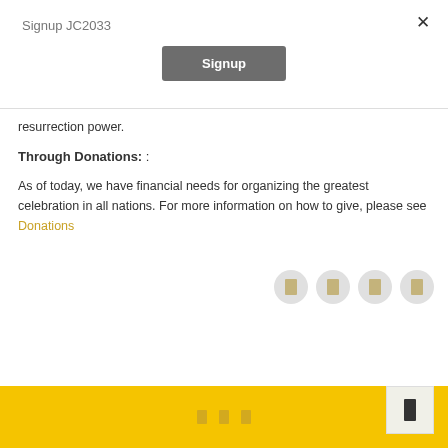Signup JC2033
Signup
resurrection power.
Through Donations: :
As of today, we have financial needs for organizing the greatest celebration in all nations. For more information on how to give, please see Donations
[Figure (other): Four gray circular social media icon buttons]
[Figure (other): Yellow footer bar with three small icon glyphs and a floating scroll-to-top button]